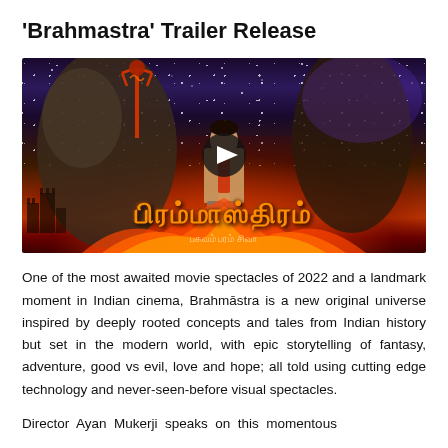'Brahmastra' Trailer Release
[Figure (screenshot): Brahmastra movie trailer thumbnail showing a man in a suit surrounded by fire and a giant figure in the background, with Tamil script title 'Brahmastraम' at the bottom and a play button overlay. Cosmic/starry background at top.]
One of the most awaited movie spectacles of 2022 and a landmark moment in Indian cinema, Brahmāstra is a new original universe inspired by deeply rooted concepts and tales from Indian history but set in the modern world, with epic storytelling of fantasy, adventure, good vs evil, love and hope; all told using cutting edge technology and never-seen-before visual spectacles.
Director Ayan Mukerji speaks on this momentous